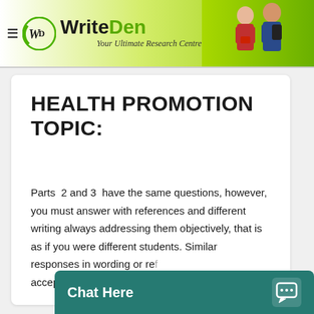WriteDen — Your Ultimate Research Centre
HEALTH PROMOTION TOPIC:
Parts 2 and 3 have the same questions, however, you must answer with references and different writing always addressing them objectively, that is as if you were different students. Similar responses in wording or references will not be accepted.